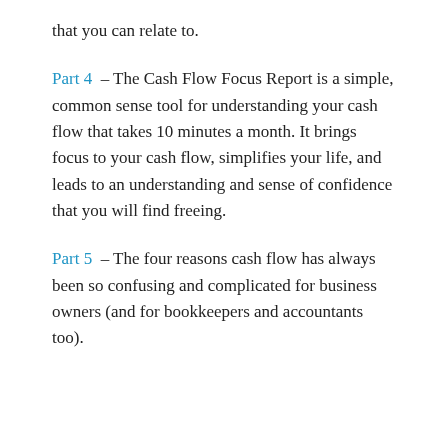that you can relate to.
Part 4 – The Cash Flow Focus Report is a simple, common sense tool for understanding your cash flow that takes 10 minutes a month. It brings focus to your cash flow, simplifies your life, and leads to an understanding and sense of confidence that you will find freeing.
Part 5 – The four reasons cash flow has always been so confusing and complicated for business owners (and for bookkeepers and accountants too).